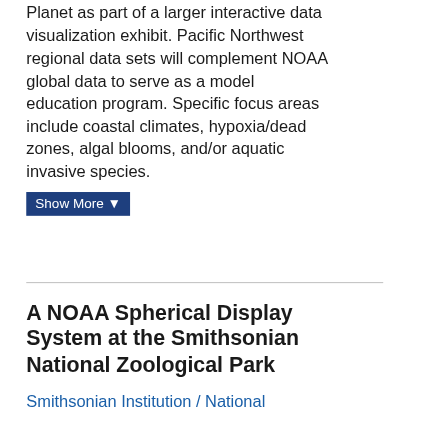Planet as part of a larger interactive data visualization exhibit. Pacific Northwest regional data sets will complement NOAA global data to serve as a model education program. Specific focus areas include coastal climates, hypoxia/dead zones, algal blooms, and/or aquatic invasive species.
Show More ▼
A NOAA Spherical Display System at the Smithsonian National Zoological Park
Smithsonian Institution / National